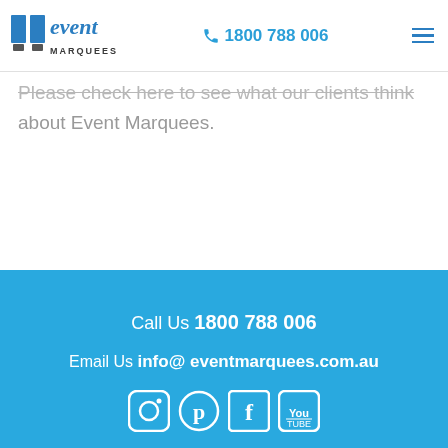event MARQUEES | 1800 788 006
Please check here to see what our clients think about Event Marquees.
Call Us 1800 788 006
Email Us info@ eventmarquees.com.au
[Figure (other): Social media icons row: Instagram, Pinterest, Facebook, YouTube]
My Event
Social Media
> Marquee Hire
> Facebook